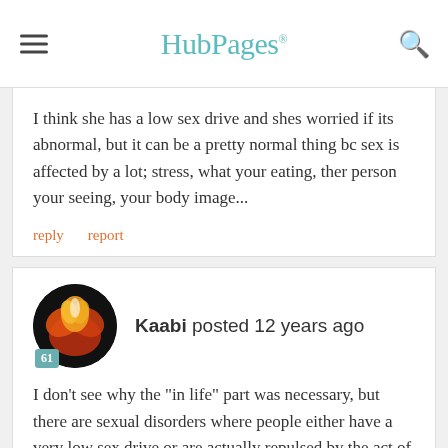HubPages
I think she has a low sex drive and shes worried if its abnormal, but it can be a pretty normal thing bc sex is affected by a lot; stress, what your eating, ther person your seeing, your body image...
reply   report
Kaabi posted 12 years ago
I don't see why the "in life" part was necessary, but there are sexual disorders where people either have a very low sex drive or are actually repulsed by the act of sex.  You might have the former, but I'm no doctor, I can't diagnose anything.